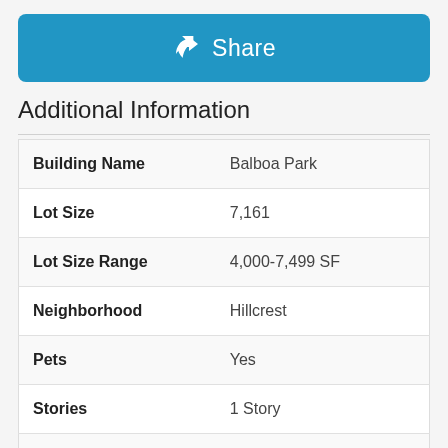[Figure (other): Blue Share button with share/forward arrow icon and 'Share' text]
Additional Information
| Building Name | Balboa Park |
| Lot Size | 7,161 |
| Lot Size Range | 4,000-7,499 SF |
| Neighborhood | Hillcrest |
| Pets | Yes |
| Stories | 1 Story |
| Style | Res Income 2-4 Units |